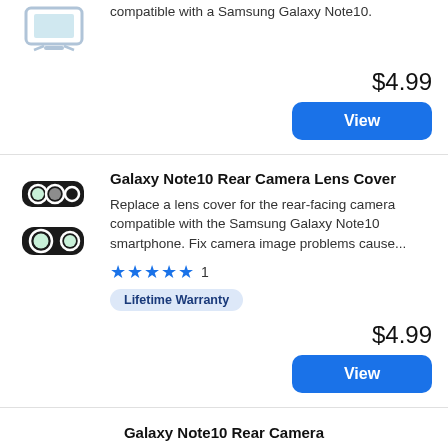compatible with a Samsung Galaxy Note10.
$4.99
View
Galaxy Note10 Rear Camera Lens Cover
Replace a lens cover for the rear-facing camera compatible with the Samsung Galaxy Note10 smartphone. Fix camera image problems cause...
★★★★★ 1
Lifetime Warranty
$4.99
View
Galaxy Note10 Rear Camera